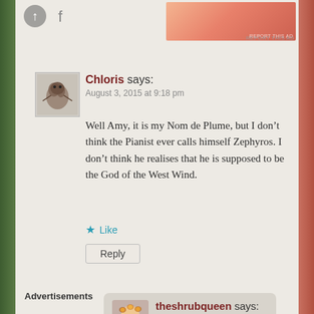[Figure (screenshot): Top advertisement banner area with orange/pink gradient image on right side and small icons on left]
REPORT THIS AD
[Figure (illustration): Avatar image for Chloris - small decorative illustration of a figure]
Chloris says:
August 3, 2015 at 9:18 pm
Well Amy, it is my Nom de Plume, but I don’t think the Pianist ever calls himself Zephyros. I don’t think he realises that he is supposed to be the God of the West Wind.
★ Like
Reply
[Figure (illustration): Avatar image for theshrubqueen - cartoon illustration of a woman with flowers in hair]
theshrubqueen says:
August 3, 2015 at 9:32 pm
Advertisements